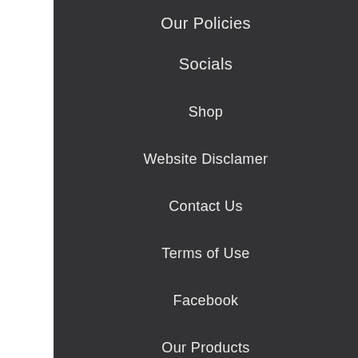Our Policies
Socials
Shop
Website Disclamer
Contact Us
Terms of Use
Facebook
Our Products
About